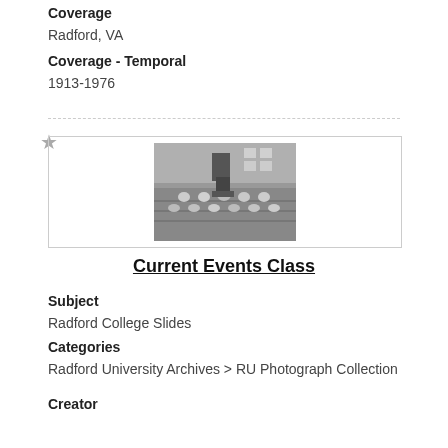Coverage
Radford, VA
Coverage - Temporal
1913-1976
[Figure (photo): Black and white photograph of an outdoor gathering or class event, with people seated in rows and a building in the background.]
Current Events Class
Subject
Radford College Slides
Categories
Radford University Archives > RU Photograph Collection
Creator